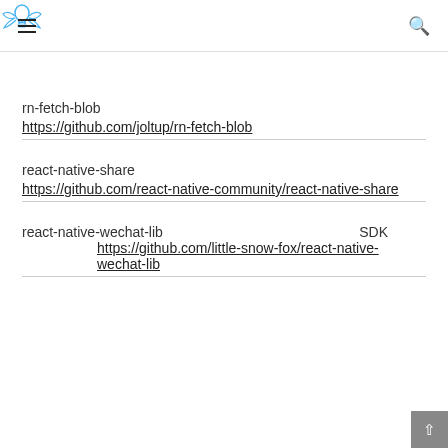≡ [logo] 🔍
rn-fetch-blob
https://github.com/joltup/rn-fetch-blob
react-native-share
https://github.com/react-native-community/react-native-share
react-native-wechat-lib    SDK
https://github.com/little-snow-fox/react-native-wechat-lib